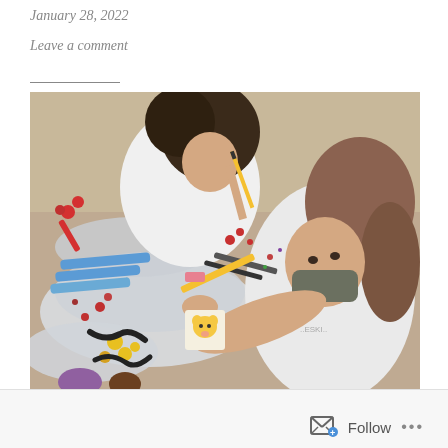January 28, 2022
Leave a comment
[Figure (photo): Two children wearing masks sitting at a table covered with aluminum foil and art supplies, working on small paintings. Paint, clay pieces, brushes, and markers are visible on the table.]
Follow ...